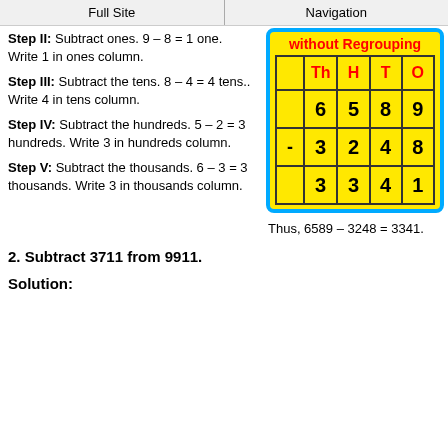Full Site | Navigation
Step II: Subtract ones. 9 – 8 = 1 one. Write 1 in ones column.
Step III: Subtract the tens. 8 – 4 = 4 tens.. Write 4 in tens column.
[Figure (table-as-image): Subtraction table without regrouping showing Th H T O columns with values 6 5 8 9 minus 3 2 4 8 equals 3 3 4 1]
Step IV: Subtract the hundreds. 5 – 2 = 3 hundreds. Write 3 in hundreds column.
Step V: Subtract the thousands. 6 – 3 = 3 thousands. Write 3 in thousands column.
Thus, 6589 – 3248 = 3341.
2. Subtract 3711 from 9911.
Solution: